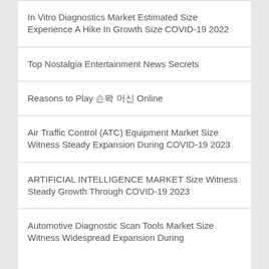In Vitro Diagnostics Market Estimated Size Experience A Hike In Growth Size COVID-19 2022
Top Nostalgia Entertainment News Secrets
Reasons to Play 슬롯 머신 Online
Air Traffic Control (ATC) Equipment Market Size Witness Steady Expansion During COVID-19 2023
ARTIFICIAL INTELLIGENCE MARKET Size Witness Steady Growth Through COVID-19 2023
Automotive Diagnostic Scan Tools Market Size Witness Widespread Expansion During